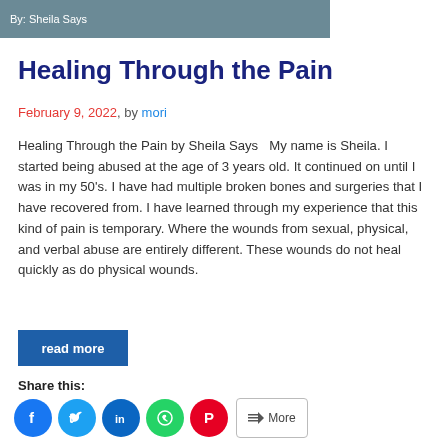By: Sheila Says
Healing Through the Pain
February 9, 2022, by mori
Healing Through the Pain by Sheila Says   My name is Sheila. I started being abused at the age of 3 years old. It continued on until I was in my 50's. I have had multiple broken bones and surgeries that I have recovered from. I have learned through my experience that this kind of pain is temporary. Where the wounds from sexual, physical, and verbal abuse are entirely different. These wounds do not heal quickly as do physical wounds.
read more
Share this:
[Figure (other): Social share icons: Facebook, Twitter, LinkedIn, WhatsApp, Pinterest, and More button]